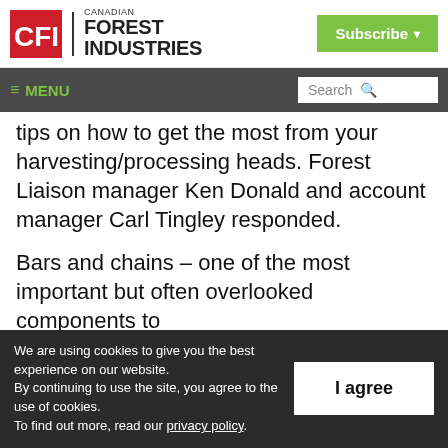Canadian Forest Industries — Subscribe
≡ MENU | Search
tips on how to get the most from your harvesting/processing heads. Forest Liaison manager Ken Donald and account manager Carl Tingley responded.
Bars and chains – one of the most important but often overlooked components to
We are using cookies to give you the best experience on our website. By continuing to use the site, you agree to the use of cookies. To find out more, read our privacy policy.